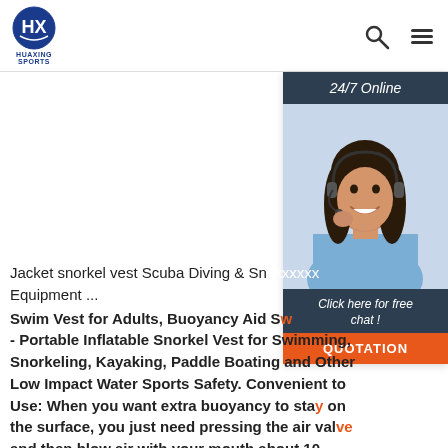HUAXING SPORTS
[Figure (photo): Customer service representative woman with headset smiling, beside a '24/7 Online' banner and 'Click here for free chat!' call to action with QUOTATION button]
Jacket snorkel vest Scuba Diving & Snorkeling Equipment ...
Swim Vest for Adults, Buoyancy Aid Swim Jacket - Portable Inflatable Snorkel Vest for Swimming, Snorkeling, Kayaking, Paddle Boating and Other Low Impact Water Sports Safety. Convenient to Use: When you want extra buoyancy to stay on the surface, you just need pressing the air valve and then blow air with your mouth about 10 seconds to complete the inflating.